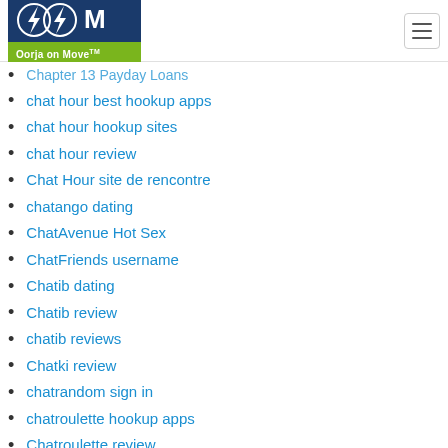Oorja on Move
Chapter 13 Payday Loans
chat hour best hookup apps
chat hour hookup sites
chat hour review
Chat Hour site de rencontre
chatango dating
ChatAvenue Hot Sex
ChatFriends username
Chatib dating
Chatib review
chatib reviews
Chatki review
chatrandom sign in
chatroulette hookup apps
Chatroulette review
Chatroulette tips